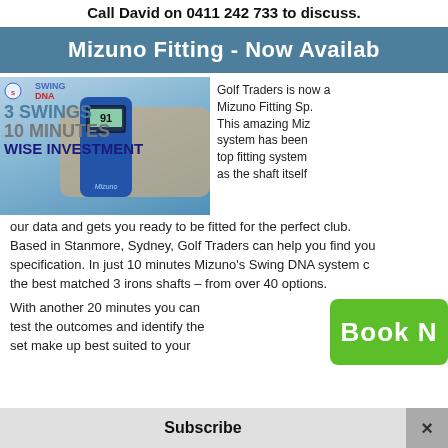Call David on 0411 242 733 to discuss.
Mizuno Fitting - Now Availab
[Figure (photo): Mizuno Swing DNA fitting device (blue handheld sensor) being held, with Swings DNA logo and text '3 SWINGS 10 MINUTES WISE INVESTMENT' overlaid on the left side]
Golf Traders is now a Mizuno Fitting Sp. This amazing Miz system has been top fitting system as the shaft itself our data and gets you ready to be fitted for the perfect club. Based in Stanmore, Sydney, Golf Traders can help you find your specification. In just 10 minutes Mizuno's Swing DNA system c the best matched 3 irons shafts – from over 40 options.
With another 20 minutes you can test the outcomes and identify the set make up best suited to your
[Figure (other): Green 'Book N' button (Book Now call-to-action button, partially visible)]
Subscribe
×